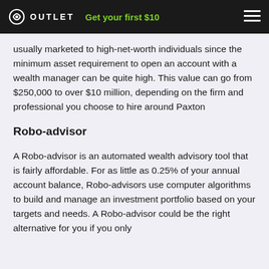OUTLET  Get your first $10
usually marketed to high-net-worth individuals since the minimum asset requirement to open an account with a wealth manager can be quite high. This value can go from $250,000 to over $10 million, depending on the firm and professional you choose to hire around Paxton
Robo-advisor
A Robo-advisor is an automated wealth advisory tool that is fairly affordable. For as little as 0.25% of your annual account balance, Robo-advisors use computer algorithms to build and manage an investment portfolio based on your targets and needs. A Robo-advisor could be the right alternative for you if you only